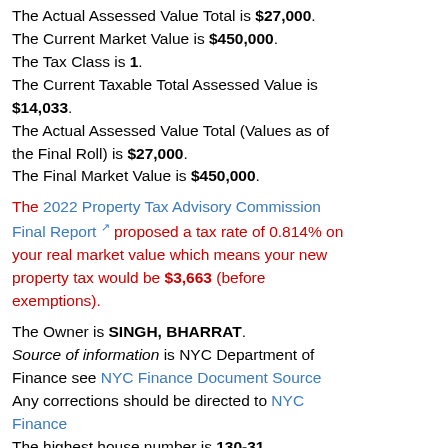The Actual Assessed Value Total is $27,000.
The Current Market Value is $450,000.
The Tax Class is 1.
The Current Taxable Total Assessed Value is $14,033.
The Actual Assessed Value Total (Values as of the Final Roll) is $27,000.
The Final Market Value is $450,000.
The 2022 Property Tax Advisory Commission Final Report [link] proposed a tax rate of 0.814% on your real market value which means your new property tax would be $3,663 (before exemptions).
The Owner is SINGH, BHARRAT.
Source of information is NYC Department of Finance see NYC Finance Document Source
Any corrections should be directed to NYC Finance
The highest house number is 130-31.
The lowest house number is 130-31.
The Street name is 149 STREET.
The Zip Code is 11436.
The Year Built is 1925.